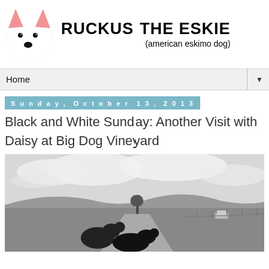[Figure (logo): Ruckus The Eskie blog header with cartoon dog face logo (white dog with pink ears) and site title text]
Home ▼
Sunday, October 13, 2013
Black and White Sunday: Another Visit with Daisy at Big Dog Vineyard
[Figure (photo): Black and white photograph of two dogs on a rural road with rolling hills and cloudy sky in the background]